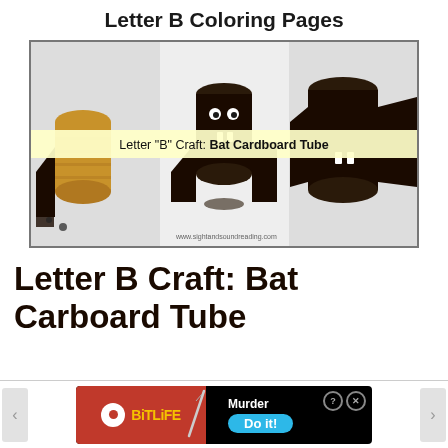Letter B Coloring Pages
[Figure (photo): Three-panel craft tutorial photo showing cardboard tube bat craft steps: plain tube, tube painted dark as bat face with eyes and fangs, and assembled bat with paper wings. Center overlay label reads: Letter "B" Craft: Bat Cardboard Tube. Website watermark: www.sightandsoundreading.com]
Letter B Craft: Bat Carboard Tube
[Figure (other): BitLife advertisement banner with red left panel showing BitLife logo and white circle, black right panel with knife graphic, Murder text and blue Do it! button, and ? X close icons]